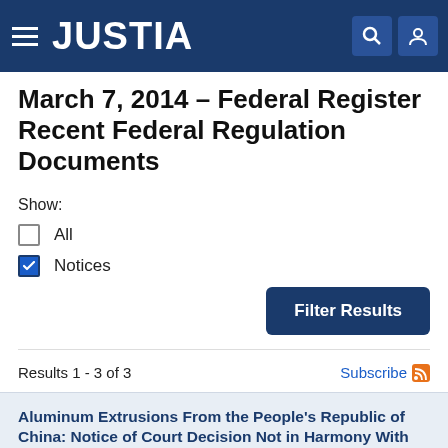JUSTIA
March 7, 2014 – Federal Register Recent Federal Regulation Documents
Show:
All
Notices
Filter Results
Results 1 - 3 of 3
Subscribe
Aluminum Extrusions From the People's Republic of China: Notice of Court Decision Not in Harmony With